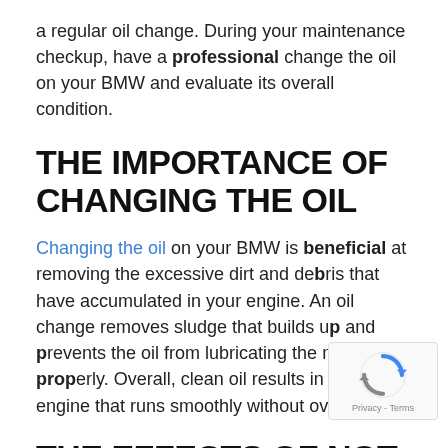a regular oil change. During your maintenance checkup, have a professional change the oil on your BMW and evaluate its overall condition.
THE IMPORTANCE OF CHANGING THE OIL
Changing the oil on your BMW is beneficial at removing the excessive dirt and debris that have accumulated in your engine. An oil change removes sludge that builds up and prevents the oil from lubricating the motor properly. Overall, clean oil results in a clean engine that runs smoothly without overheating.
[Figure (logo): reCAPTCHA badge with spinning arrows icon and Privacy - Terms text]
THE EFFECTS OF NOT